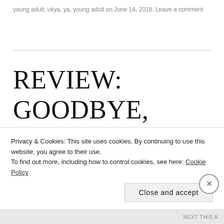young adult, ukya, ya, young adult on June 14, 2018. Leave a comment
REVIEW: GOODBYE, PERFECT BY SARA BARNARD
Goodbye, Perfect is Sara Barnard's third novel, and the third novel of
Privacy & Cookies: This site uses cookies. By continuing to use this website, you agree to their use.
To find out more, including how to control cookies, see here: Cookie Policy
Close and accept